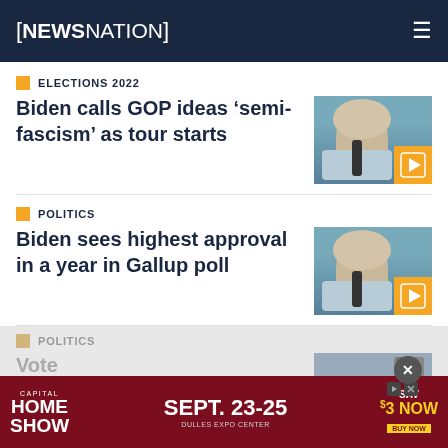NEWSNATION
ELECTIONS 2022
Biden calls GOP ideas ‘semi-fascism’ as tour starts
[Figure (photo): Photo of Biden speaking at microphone with video play badge]
POLITICS
Biden sees highest approval in a year in Gallup poll
[Figure (photo): Photo of Biden speaking at microphone with video play badge]
POLITICS
Voters...focu...
[Figure (photo): Partially visible news photo with video play badge]
[Figure (advertisement): Capital Home Show advertisement - Sept. 23-25, Dulles Expo Center, Save $3 Now, Buy Now]